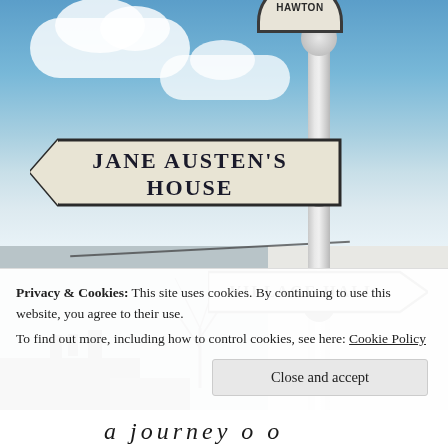[Figure (photo): Photograph of a signpost in Chawton village. The top arm reads 'JANE AUSTEN'S HOUSE' pointing left, a lower arm reads 'VILLAGE HALL' pointing right. A white post with decorative knobs supports both signs. A partial circular 'HAWTON' (Chawton) village sign is visible at top right. Blue cloudy sky in background with rooftops and bare trees visible below.]
Privacy & Cookies: This site uses cookies. By continuing to use this website, you agree to their use.
To find out more, including how to control cookies, see here: Cookie Policy
Close and accept
a journey o o